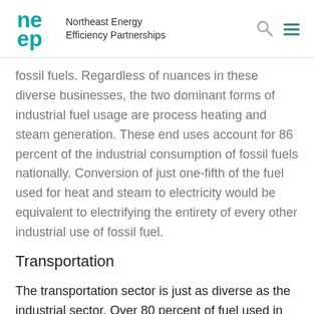Northeast Energy Efficiency Partnerships
fossil fuels. Regardless of nuances in these diverse businesses, the two dominant forms of industrial fuel usage are process heating and steam generation. These end uses account for 86 percent of the industrial consumption of fossil fuels nationally. Conversion of just one-fifth of the fuel used for heat and steam to electricity would be equivalent to electrifying the entirety of every other industrial use of fossil fuel.
Transportation
The transportation sector is just as diverse as the industrial sector. Over 80 percent of fuel used in…